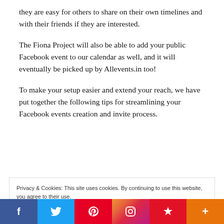they are easy for others to share on their own timelines and with their friends if they are interested.
The Fiona Project will also be able to add your public Facebook event to our calendar as well, and it will eventually be picked up by Allevents.in too!
To make your setup easier and extend your reach, we have put together the following tips for streamlining your Facebook events creation and invite process.
Privacy & Cookies: This site uses cookies. By continuing to use this website, you agree to their use.
To find out more, including how to control cookies, see here: Privacy Policy
Close and accept